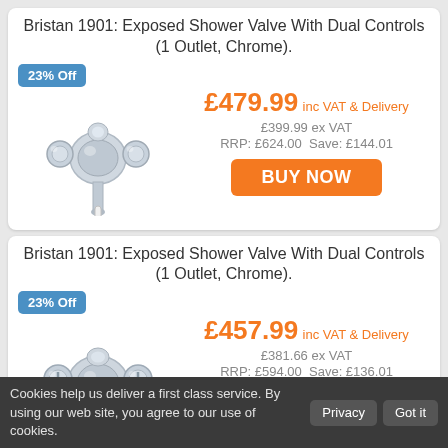Bristan 1901: Exposed Shower Valve With Dual Controls (1 Outlet, Chrome).
[Figure (photo): Chrome shower valve with dual controls, badge showing 23% Off]
£479.99 inc VAT & Delivery
£399.99 ex VAT
RRP: £624.00  Save: £144.01
BUY NOW
Bristan 1901: Exposed Shower Valve With Dual Controls (1 Outlet, Chrome).
[Figure (photo): Chrome shower valve with dual controls, badge showing 23% Off]
£457.99 inc VAT & Delivery
£381.66 ex VAT
RRP: £594.00  Save: £136.01
BUY NOW
Cookies help us deliver a first class service. By using our web site, you agree to our use of cookies.  Privacy  Got it